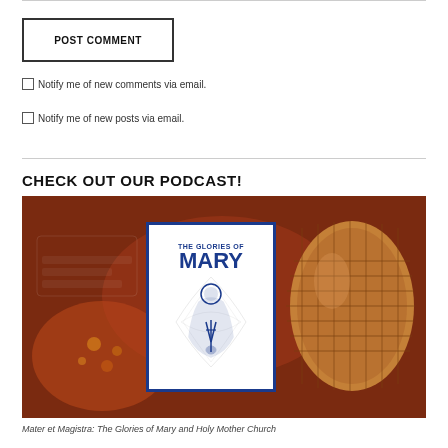POST COMMENT
Notify me of new comments via email.
Notify me of new posts via email.
CHECK OUT OUR PODCAST!
[Figure (photo): Podcast promotional image showing 'The Glories of Mary' logo on a white background with blue border, placed over an orange/brown background with a microphone visible on the right side and audio equipment on the left.]
Mater et Magistra: The Glories of Mary and Holy Mother Church